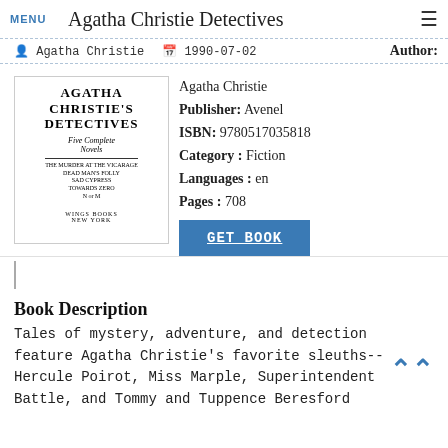MENU | Agatha Christie Detectives | ≡
👤 Agatha Christie  📅 1990-07-02  Author:
[Figure (illustration): Book cover of Agatha Christie's Detectives: Five Complete Novels, published by Wings Books New York]
Author: Agatha Christie
Publisher: Avenel
ISBN: 9780517035818
Category: Fiction
Languages: en
Pages: 708
GET BOOK
Book Description
Tales of mystery, adventure, and detection feature Agatha Christie's favorite sleuths--Hercule Poirot, Miss Marple, Superintendent Battle, and Tommy and Tuppence Beresford